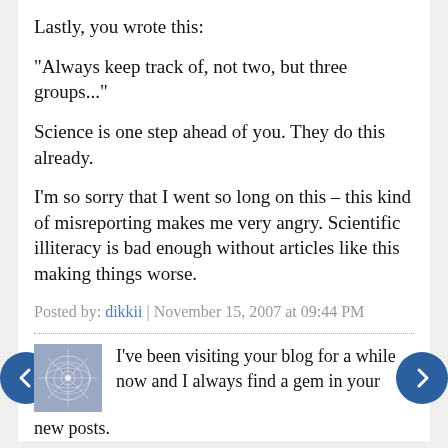Lastly, you wrote this:
"Always keep track of, not two, but three groups..."
Science is one step ahead of you. They do this already.
I'm so sorry that I went so long on this – this kind of misreporting makes me very angry. Scientific illiteracy is bad enough without articles like this making things worse.
Posted by: dikkii | November 15, 2007 at 09:44 PM
I've been visiting your blog for a while now and I always find a gem in your new posts.